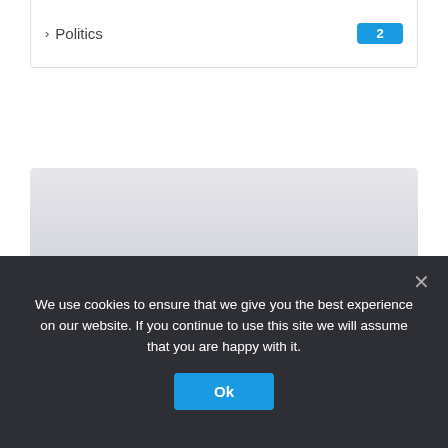› Politics  2
[Figure (photo): Article card with blurred gray background image showing article teaser for Gabriella Pereira / Beare Park story]
How industry outsider Gabriella Pereira built label Beare Park in under two years and found Australi...
We use cookies to ensure that we give you the best experience on our website. If you continue to use this site we will assume that you are happy with it.